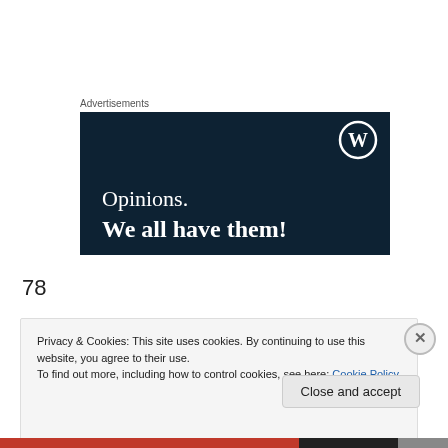Advertisements
[Figure (illustration): WordPress advertisement banner with dark navy background, WordPress 'W' circle logo in top right, text reading 'Opinions. We all have them!']
78
Privacy & Cookies: This site uses cookies. By continuing to use this website, you agree to their use.
To find out more, including how to control cookies, see here: Cookie Policy